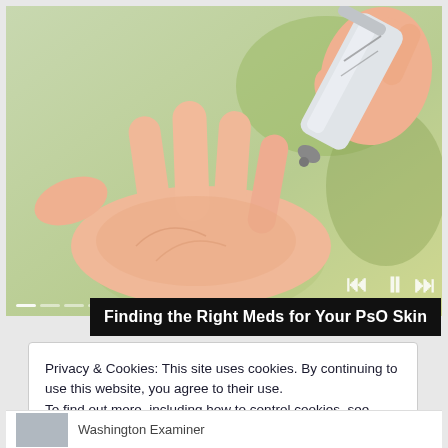[Figure (photo): Close-up photo of a hand with an open palm, and another hand holding a silver tube (cream/medication) pointing at it, with a blurred green background. Media player controls (skip back, pause, skip forward) visible at bottom right of image.]
Finding the Right Meds for Your PsO Skin
Privacy & Cookies: This site uses cookies. By continuing to use this website, you agree to their use.
To find out more, including how to control cookies, see here: Cookie Policy
Close and accept
Washington Examiner